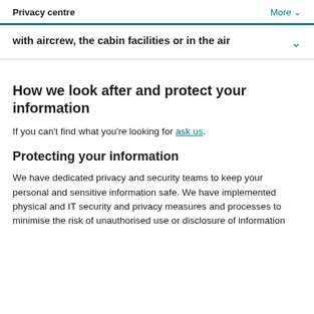Privacy centre   More ∨
with aircrew, the cabin facilities or in the air
How we look after and protect your information
If you can't find what you're looking for ask us.
Protecting your information
We have dedicated privacy and security teams to keep your personal and sensitive information safe. We have implemented physical and IT security and privacy measures and processes to minimise the risk of unauthorised use or disclosure of information